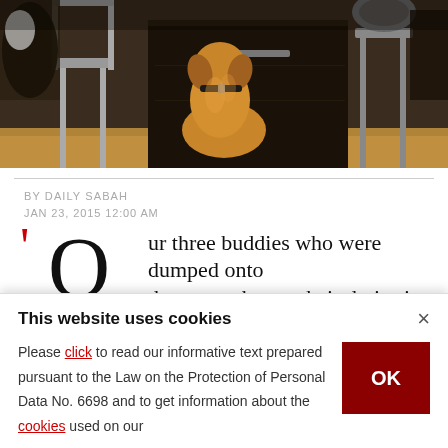[Figure (photo): A golden retriever dog sitting with its back to the camera, facing a dark wooden cabinet/dresser, flanked by metal chairs, indoors on a wooden floor]
BY DAILY SABAH
JAN 23, 2015 12:00 AM
'Our three buddies who were dumped onto the streets began their duties in our Search and Rescue Directorate,' the official Twitter
This website uses cookies
Please click to read our informative text prepared pursuant to the Law on the Protection of Personal Data No. 6698 and to get information about the cookies used on our